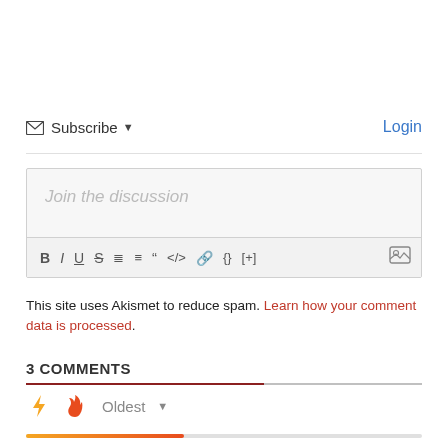Subscribe ▾   Login
[Figure (screenshot): Comment editor text box with placeholder 'Join the discussion' and a formatting toolbar with buttons: B, I, U, S, ordered list, unordered list, blockquote, code, link, {}, [+], and image icon]
This site uses Akismet to reduce spam. Learn how your comment data is processed.
3 COMMENTS
[Figure (infographic): Sort bar with lightning bolt icon, flame icon, and 'Oldest' dropdown, with an orange-to-red progress bar below]